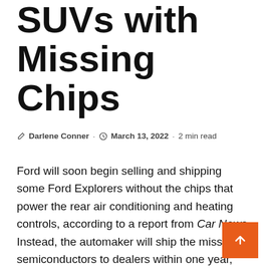SUVs with Missing Chips
✎ Darlene Conner · ⏱ March 13, 2022 · 2 min read
Ford will soon begin selling and shipping some Ford Explorers without the chips that power the rear air conditioning and heating controls, according to a report from Car News. Instead, the automaker will ship the missing semiconductors to dealers within one year, and then install them in customers' cars after purchase.
“Customers who buy a car without the rear controls will